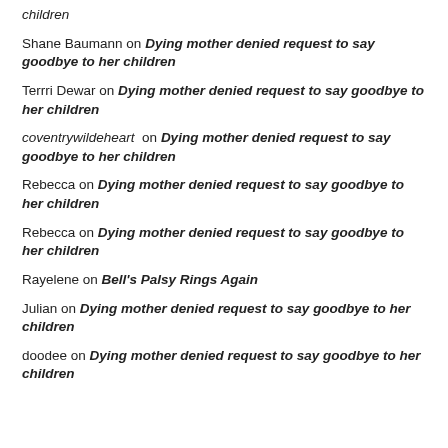children
Shane Baumann on Dying mother denied request to say goodbye to her children
Terrri Dewar on Dying mother denied request to say goodbye to her children
coventrywildeheart on Dying mother denied request to say goodbye to her children
Rebecca on Dying mother denied request to say goodbye to her children
Rebecca on Dying mother denied request to say goodbye to her children
Rayelene on Bell's Palsy Rings Again
Julian on Dying mother denied request to say goodbye to her children
doodee on Dying mother denied request to say goodbye to her children